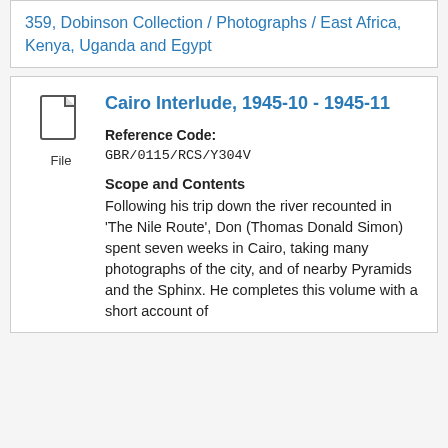359, Dobinson Collection / Photographs / East Africa, Kenya, Uganda and Egypt
[Figure (illustration): File icon (document page icon) with label 'File' below it]
Cairo Interlude, 1945-10 - 1945-11
Reference Code: GBR/0115/RCS/Y304V
Scope and Contents
Following his trip down the river recounted in 'The Nile Route', Don (Thomas Donald Simon) spent seven weeks in Cairo, taking many photographs of the city, and of nearby Pyramids and the Sphinx. He completes this volume with a short account of